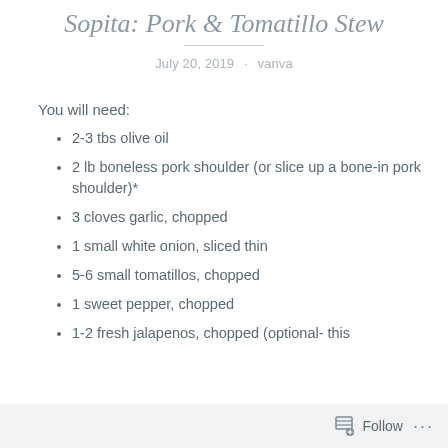Sopita: Pork & Tomatillo Stew
July 20, 2019 · vanva
You will need:
2-3 tbs olive oil
2 lb boneless pork shoulder (or slice up a bone-in pork shoulder)*
3 cloves garlic, chopped
1 small white onion, sliced thin
5-6 small tomatillos, chopped
1 sweet pepper, chopped
1-2 fresh jalapenos, chopped (optional- this
Follow ...